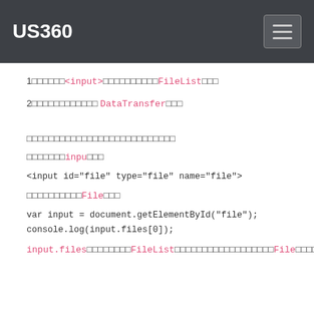US360
1□□□□□□<input>□□□□□□□□□□FileList□□□
2□□□□□□□□□□□□ DataTransfer□□□
□□□□□□□□□□□□□□□□□□□□□□□□□□□
□□□□□□□inpu□□□
<input id="file" type="file" name="file">
□□□□□□□□□□File□□□
var input = document.getElementById("file");
console.log(input.files[0]);
input.files□□□□□□□□FileList□□□□□□□□□□□□□□□□□□File□□□